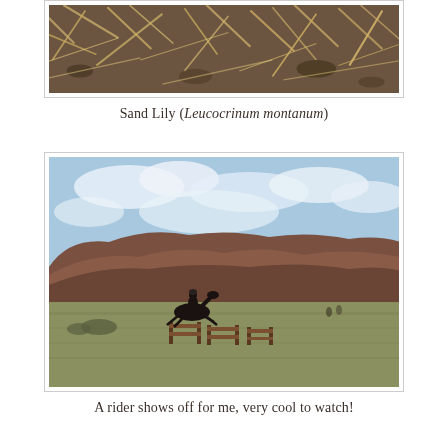[Figure (photo): Close-up photograph of dry grass, straw, and ground debris — sandy, brown, and tan tones, appearing to be dead vegetation on the ground.]
Sand Lily (Leucocrinum montanum)
[Figure (photo): Wide outdoor landscape photo showing a horse and rider jumping over a wooden fence obstacle in a large open grassy field. Red/brown eroded hills or buttes are visible in the background under a partly cloudy blue sky.]
A rider shows off for me, very cool to watch!